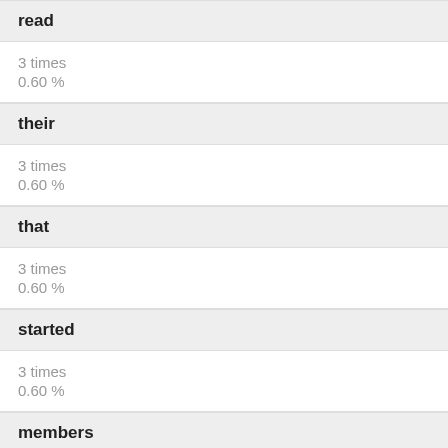read
3 times
0.60 %
their
3 times
0.60 %
that
3 times
0.60 %
started
3 times
0.60 %
members
3 times
0.60 %
email